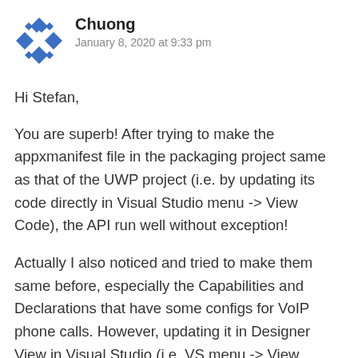[Figure (logo): Blue diamond/rhombus pattern avatar icon for user Chuong]
Chuong
January 8, 2020 at 9:33 pm
Hi Stefan,
You are superb! After trying to make the appxmanifest file in the packaging project same as that of the UWP project (i.e. by updating its code directly in Visual Studio menu -> View Code), the API run well without exception!
Actually I also noticed and tried to make them same before, especially the Capabilities and Declarations that have some configs for VoIP phone calls. However, updating it in Designer View in Visual Studio (i.e. VS menu -> View Designer) did not generate enough config for VoIP phone calls support, so this config needs to be added manually in Code View, then the issue is